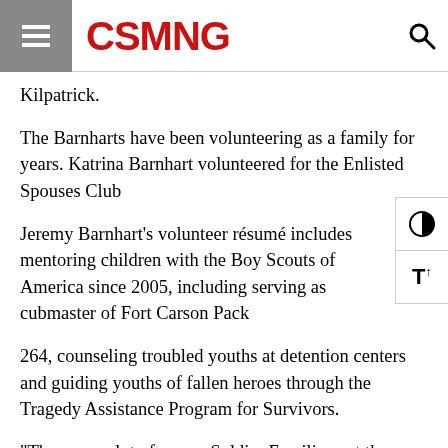CSMNG
Kilpatrick.
The Barnharts have been volunteering as a family for years. Katrina Barnhart volunteered for the Enlisted Spouses Club
Jeremy Barnhart’s volunteer résumé includes mentoring children with the Boy Scouts of America since 2005, including serving as cubmaster of Fort Carson Pack
264, counseling troubled youths at detention centers and guiding youths of fallen heroes through the Tragedy Assistance Program for Survivors.
“There are a lot of young Soldier Families out there that don’t feel like they are part of the organization — volunteering is a way to feel like you are part of that organization,” said Jeremy Barnhart. “It really changes your